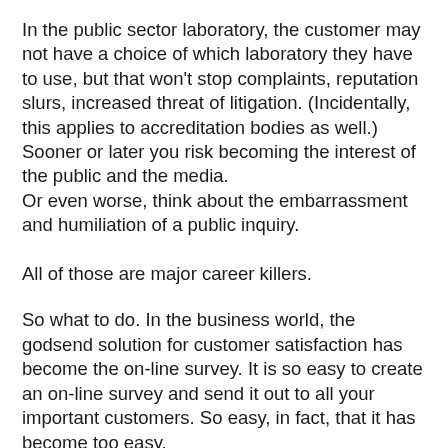In the public sector laboratory, the customer may not have a choice of which laboratory they have to use, but that won't stop complaints, reputation slurs, increased threat of litigation. (Incidentally, this applies to accreditation bodies as well.)
Sooner or later you risk becoming the interest of the public and the media.
Or even worse, think about the embarrassment and humiliation of a public inquiry.

All of those are major career killers.
So what to do. In the business world, the godsend solution for customer satisfaction has become the on-line survey. It is so easy to create an on-line survey and send it out to all your important customers. So easy, in fact, that it has become too easy.
Anyone foolish enough to give your email address to a hotel